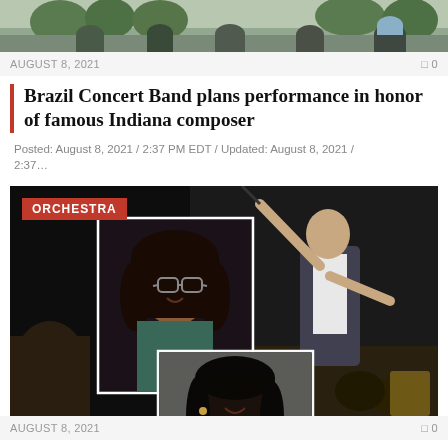[Figure (photo): Outdoor concert scene with audience members viewed from behind, trees and buildings in background]
AUGUST 8, 2021                                     0
Brazil Concert Band plans performance in honor of famous Indiana composer
Posted: August 8, 2021 / 2:37 PM EDT / Updated: August 8, 2021 / 2:37...
[Figure (photo): Orchestra collage with ORCHESTRA label. Shows three portrait photos of musicians overlaid on a photo of a conductor in a suit raising a baton. Bottom left shows partial view of an audience member. Two framed portrait photos show female musicians.]
AUGUST 8, 2021        0